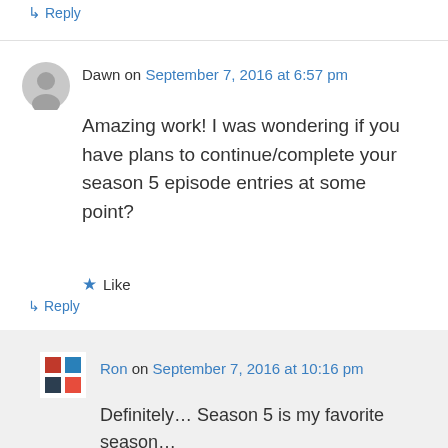↳ Reply
Dawn on September 7, 2016 at 6:57 pm
Amazing work! I was wondering if you have plans to continue/complete your season 5 episode entries at some point?
★ Like
↳ Reply
Ron on September 7, 2016 at 10:16 pm
Definitely… Season 5 is my favorite season…
★ Like